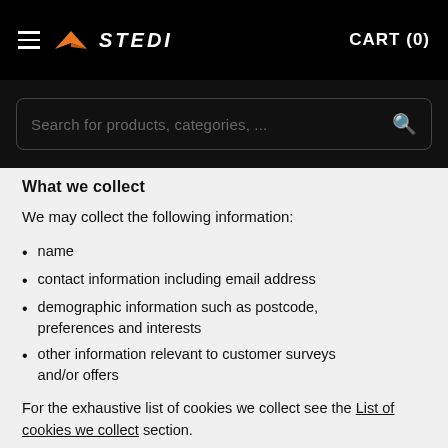STEDI  CART (0)
[Figure (screenshot): Search bar with placeholder text 'Search for products, categories, ...' and a search icon on dark background]
What we collect
We may collect the following information:
name
contact information including email address
demographic information such as postcode, preferences and interests
other information relevant to customer surveys and/or offers
For the exhaustive list of cookies we collect see the List of cookies we collect section.